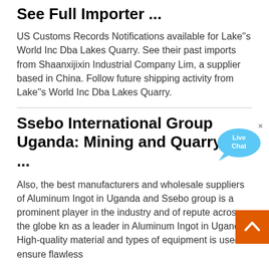See Full Importer ...
US Customs Records Notifications available for Lake"s World Inc Dba Lakes Quarry. See their past imports from Shaanxijixin Industrial Company Lim, a supplier based in China. Follow future shipping activity from Lake"s World Inc Dba Lakes Quarry.
[Figure (illustration): Live Chat bubble button in blue with white text 'Live Chat']
Ssebo International Group Uganda: Mining and Quarry, All ...
Also, the best manufacturers and wholesale suppliers of Aluminum Ingot in Uganda and Ssebo group is a prominent player in the industry and of repute across the globe kn as a leader in Aluminum Ingot in Uganda. High-quality material and types of equipment is used to ensure flawless
[Figure (illustration): Orange back-to-top button with white upward chevron arrow]